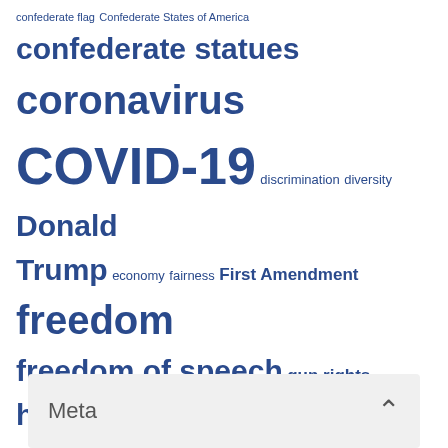[Figure (infographic): Tag cloud with various political, social, and news-related terms rendered in different sizes in dark blue, indicating frequency/importance. Terms include: confederate flag, Confederate States of America, confederate statues, coronavirus, COVID-19, discrimination, diversity, Donald Trump, economy, fairness, First Amendment, freedom, freedom of speech, gun rights, guns, history, hypocrisy, individual rights, Joe Biden, justice, liberty, logic, media bias, personal, political correctness, protests, racism, religious freedom, reverse racism, Robert E. Lee, Second Amendment, statue genocide, statues, vaccine mandates, vaccines, vandalism.]
Meta